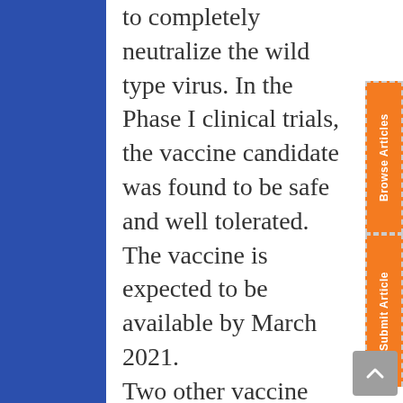to completely neutralize the wild type virus. In the Phase I clinical trials, the vaccine candidate was found to be safe and well tolerated. The vaccine is expected to be available by March 2021.

Two other vaccine candidates by